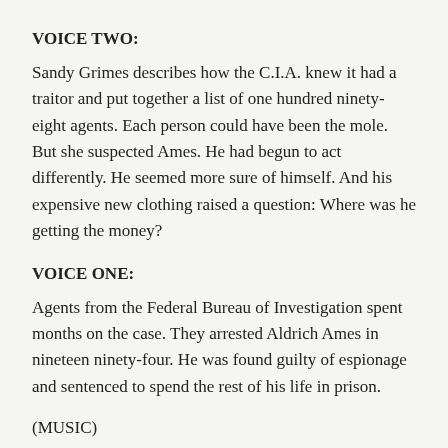VOICE TWO:
Sandy Grimes describes how the C.I.A. knew it had a traitor and put together a list of one hundred ninety-eight agents. Each person could have been the mole. But she suspected Ames. He had begun to act differently. He seemed more sure of himself. And his expensive new clothing raised a question: Where was he getting the money?
VOICE ONE:
Agents from the Federal Bureau of Investigation spent months on the case. They arrested Aldrich Ames in nineteen ninety-four. He was found guilty of espionage and sentenced to spend the rest of his life in prison.
(MUSIC)